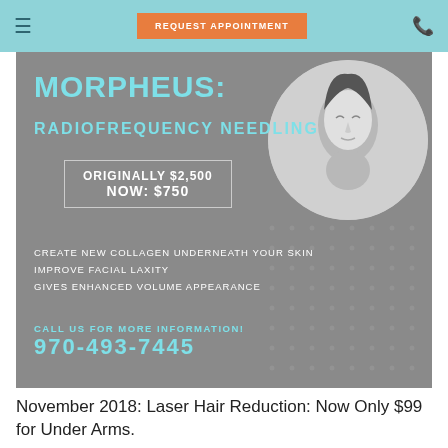REQUEST APPOINTMENT
[Figure (infographic): Morpheus Radiofrequency Needling advertisement. Gray background with teal title text reading MORPHEUS: RADIOFREQUENCY NEEDLING. Price box showing ORIGINALLY $2,500 NOW: $750. Features: CREATE NEW COLLAGEN UNDERNEATH YOUR SKIN, IMPROVE FACIAL LAXITY, GIVES ENHANCED VOLUME APPEARANCE. Contact info: CALL US FOR MORE INFORMATION! 970-493-7445. Black and white circular portrait of a woman with closed eyes on the right side.]
November 2018: Laser Hair Reduction: Now Only $99 for Under Arms.